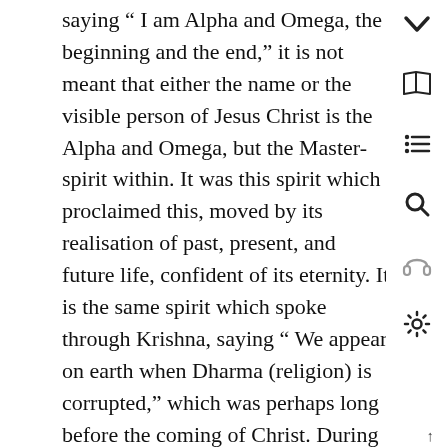saying “ I am Alpha and Omega, the beginning and the end,” it is not meant that either the name or the visible person of Jesus Christ is the Alpha and Omega, but the Master-spirit within. It was this spirit which proclaimed this, moved by its realisation of past, present, and future life, confident of its eternity. It is the same spirit which spoke through Krishna, saying “ We appear on earth when Dharma (religion) is corrupted,” which was perhaps long before the coming of Christ. During his divine absorption, Muhammed said “ I existed even before this creation and shall remain after its assimilation.” In the holy traditions, it is said, “ We have created thee of Our light and from thy light We have created the universe.” This is not said of
↑